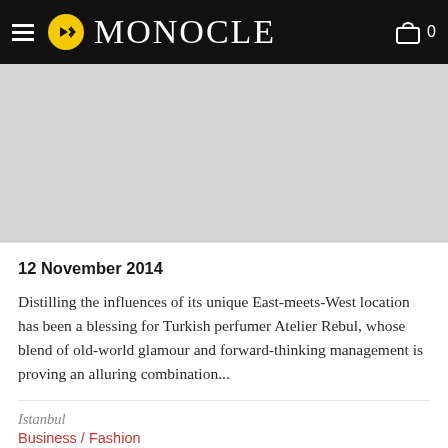MONOCLE
[Figure (photo): Grey placeholder image area for a Monocle article]
12 November 2014
Distilling the influences of its unique East-meets-West location has been a blessing for Turkish perfumer Atelier Rebul, whose blend of old-world glamour and forward-thinking management is proving an alluring combination...
Istanbul
Business / Fashion
Article